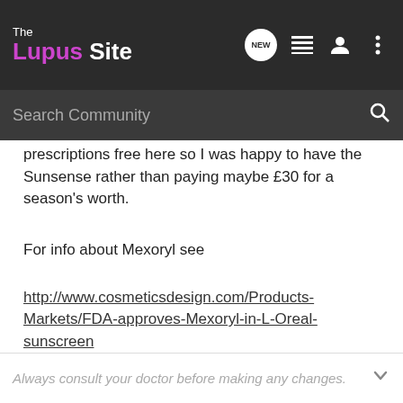The Lupus Site
prescriptions free here so I was happy to have the Sunsense rather than paying maybe £30 for a season's worth.
For info about Mexoryl see
http://www.cosmeticsdesign.com/Products-Markets/FDA-approves-Mexoryl-in-L-Oreal-sunscreen
Cheers
Clare
Always consult your doctor before making any changes.